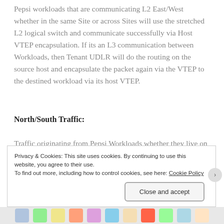Pepsi workloads that are communicating L2 East/West whether in the same Site or across Sites will use the stretched L2 logical switch and communicate successfully via Host VTEP encapsulation. If its an L3 communication between Workloads, then Tenant UDLR will do the routing on the source host and encapsulate the packet again via the VTEP to the destined workload via its host VTEP.
North/South Traffic:
Traffic originating from Pepsi Workloads whether they live on ORGVDC site 1 and/or ORGVDC site 2 will have
Privacy & Cookies: This site uses cookies. By continuing to use this website, you agree to their use.
To find out more, including how to control cookies, see here: Cookie Policy
Close and accept